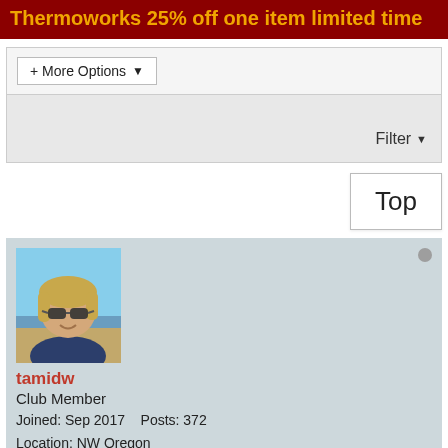Thermoworks 25% off one item limited time
+ More Options
Filter
Top
[Figure (photo): Profile photo of a blonde woman wearing sunglasses on a beach]
tamidw
Club Member
Joined: Sep 2017    Posts: 372
Location: NW Oregon